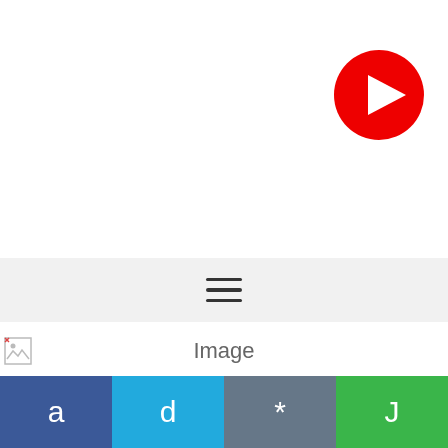[Figure (logo): Red circular play button icon (YouTube-style) in top right area]
[Figure (other): Hamburger menu icon (three horizontal lines) centered in a light gray navigation bar]
[Figure (other): Broken image icon on the left, with the text 'Image' centered]
Image
Ads help us keep this site online
[Figure (infographic): BitLife advertisement banner: red dotted background with sperm icon, BitLife logo in yellow, black bar with white text START A NEW LIFE]
[Figure (other): Bottom navigation bar with four colored tabs: blue 'a', cyan 'd', dark gray '*', green 'J']